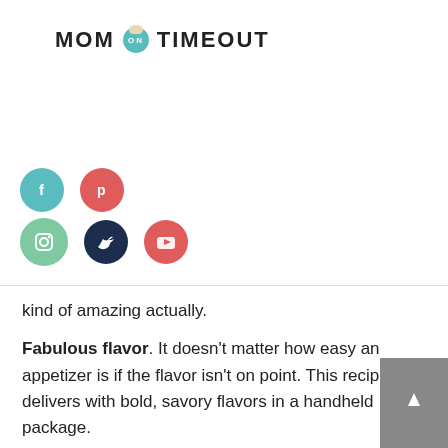MOM ON TIMEOUT
[Figure (infographic): Social media icon buttons: Facebook (teal), Pinterest (red/coral), Instagram (green), Twitter (dark navy), YouTube (red/coral) arranged in two rows]
kind of amazing actually.
Fabulous flavor. It doesn't matter how easy an appetizer is if the flavor isn't on point. This recipe delivers with bold, savory flavors in a handheld package.
Great for parties. Sliders are perfect for